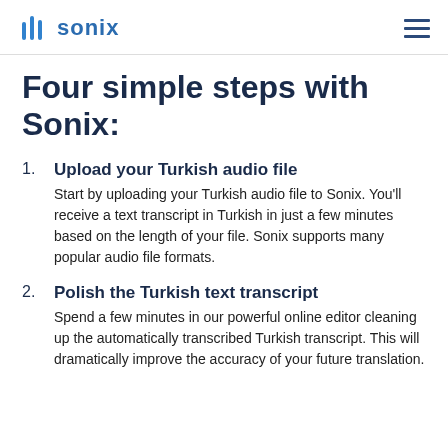sonix
Four simple steps with Sonix:
Upload your Turkish audio file
Start by uploading your Turkish audio file to Sonix. You'll receive a text transcript in Turkish in just a few minutes based on the length of your file. Sonix supports many popular audio file formats.
Polish the Turkish text transcript
Spend a few minutes in our powerful online editor cleaning up the automatically transcribed Turkish transcript. This will dramatically improve the accuracy of your future translation.